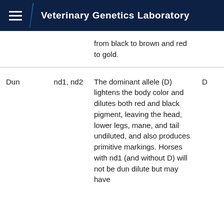Veterinary Genetics Laboratory
| Name | Alleles | Description | Marker |
| --- | --- | --- | --- |
|  |  | from black to brown and red to gold. |  |
| Dun | nd1, nd2 | The dominant allele (D) lightens the body color and dilutes both red and black pigment, leaving the head, lower legs, mane, and tail undiluted, and also produces primitive markings. Horses with nd1 (and without D) will not be dun dilute but may have | D |